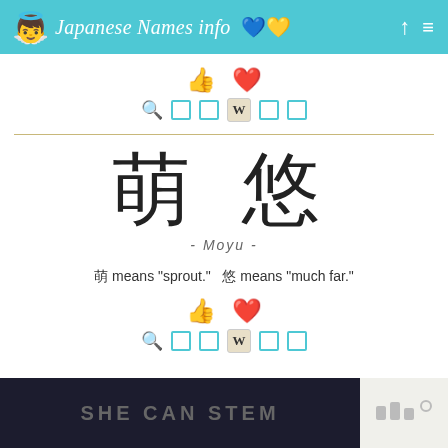Japanese Names info
萌 悠 - Moyu -
萌 means "sprout."   悠 means "much far."
[Figure (screenshot): Advertisement banner: SHE CAN STEM with dark background and logo]